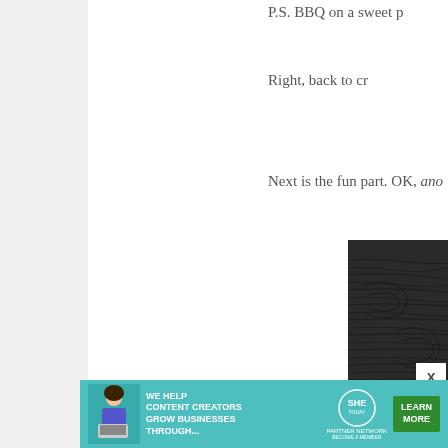P.S. BBQ on a sweet p
Right, back to cr
Next is the fun part. OK, ano
[Figure (photo): Close-up photo of dark charred or weathered wood grain texture, showing horizontal ridges and burn/wear patterns. A light beige fabric or burlap is visible in the upper right corner.]
[Figure (infographic): Advertisement banner for SHE Media Partner Network. Teal/green background with text 'WE HELP CONTENT CREATORS GROW BUSINESSES THROUGH...' alongside SHE Today logo and a green 'LEARN MORE / BECOME A MEMBER' button. An image of a woman with a laptop is on the left.]